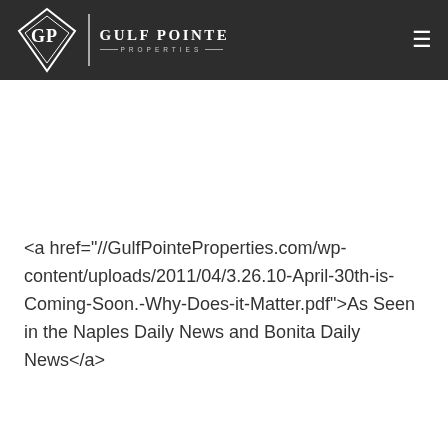[Figure (logo): Gulf Pointe Properties logo with diamond shape containing GP initials, followed by text 'Gulf Pointe Properties' and a hamburger menu icon, all on dark background header]
<a href="//GulfPointeProperties.com/wp-content/uploads/2011/04/3.26.10-April-30th-is-Coming-Soon.-Why-Does-it-Matter.pdf">As Seen in the Naples Daily News and Bonita Daily News</a>